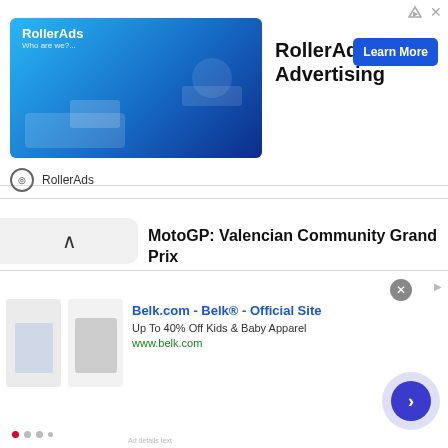[Figure (screenshot): RollerAds advertising banner with blue gradient background, logo, 'RollerAds Advertising' title text and 'Learn More' button]
RollerAds
MotoGP: Valencian Community Grand Prix
Spain is host to four MotoGP circuits in the year, although Valencia, thanks to the city and its amenities, and because it closes the season, has a special touch. It sits 150,000 strong and boasts a unique stadium section that gives the crowd some spectacular views of the entire race. Now to Valencia... A beautiful city sometimes left behind in
[Figure (screenshot): Belk.com advertisement banner showing kids clothing items, 'Belk.com - Belk® - Official Site', 'Up To 40% Off Kids & Baby Apparel', 'www.belk.com' with navigation arrow]